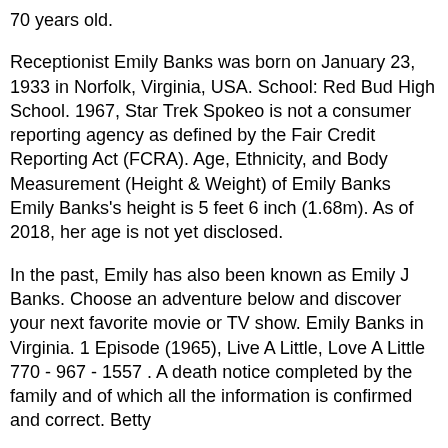70 years old.
Receptionist Emily Banks was born on January 23, 1933 in Norfolk, Virginia, USA. School: Red Bud High School. 1967, Star Trek Spokeo is not a consumer reporting agency as defined by the Fair Credit Reporting Act (FCRA). Age, Ethnicity, and Body Measurement (Height & Weight) of Emily Banks Emily Banks's height is 5 feet 6 inch (1.68m). As of 2018, her age is not yet disclosed.
In the past, Emily has also been known as Emily J Banks. Choose an adventure below and discover your next favorite movie or TV show. Emily Banks in Virginia. 1 Episode (1965), Live A Little, Love A Little 770 - 967 - 1557 . A death notice completed by the family and of which all the information is confirmed and correct. Betty
Receive obituaries from the city or cities of your choice. Try our people search, reverse phone lookup or address lookup, it's better than the white pages!
1 Episode (1966), The Plainsman He joined the FaZe Clan while living